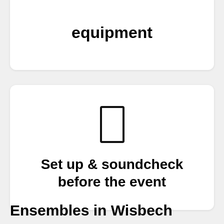equipment
[Figure (illustration): A simple rectangle/door icon outline representing a venue or room]
Set up & soundcheck before the event
Ensembles in Wisbech